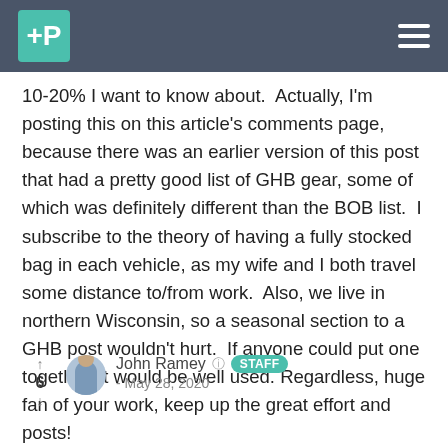The Prepared — navigation header
10-20% I want to know about.  Actually, I'm posting this on this article's comments page, because there was an earlier version of this post that had a pretty good list of GHB gear, some of which was definitely different than the BOB list.  I subscribe to the theory of having a fully stocked bag in each vehicle, as my wife and I both travel some distance to/from work.  Also, we live in northern Wisconsin, so a seasonal section to a GHB post wouldn't hurt.  If anyone could put one together, it would be well used. Regardless, huge fan of your work, keep up the great effort and posts!
John Ramey  STAFF
- May 28, 2020